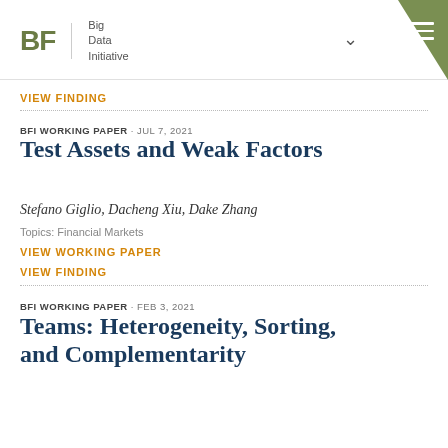BF | Big Data Initiative
VIEW FINDING
BFI WORKING PAPER · JUL 7, 2021
Test Assets and Weak Factors
Stefano Giglio, Dacheng Xiu, Dake Zhang
Topics: Financial Markets
VIEW WORKING PAPER
VIEW FINDING
BFI WORKING PAPER · FEB 3, 2021
Teams: Heterogeneity, Sorting, and Complementarity